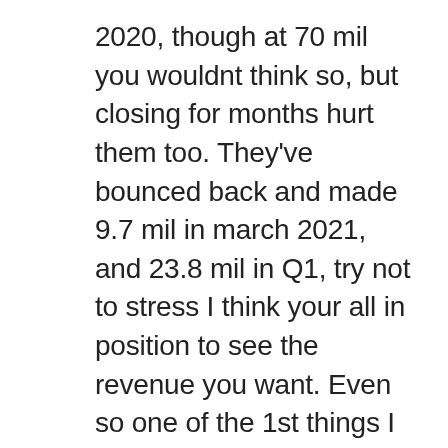2020, though at 70 mil you wouldnt think so, but closing for months hurt them too. They've bounced back and made 9.7 mil in march 2021, and 23.8 mil in Q1, try not to stress I think your all in position to see the revenue you want. Even so one of the 1st things I learned about investing was not to put all your eggs in 1 basket, the more diversified you are the less likely you are to take a hit, and seriously their are so many small companies in tech needed to support 5G, and EV, and and even in bio pharma, AI is another, and will run everything